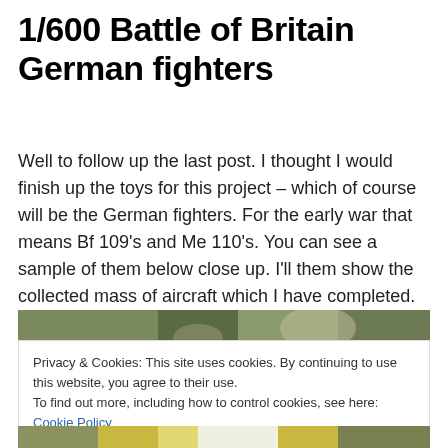1/600 Battle of Britain German fighters
Well to follow up the last post. I thought I would finish up the toys for this project – which of course will be the German fighters. For the early war that means Bf 109's and Me 110's. You can see a sample of them below close up. I'll them show the collected mass of aircraft which I have completed.
[Figure (photo): Top portion of a close-up photograph of 1/600 scale German fighter model aircraft with camouflage coloring]
Privacy & Cookies: This site uses cookies. By continuing to use this website, you agree to their use.
To find out more, including how to control cookies, see here: Cookie Policy
[Figure (photo): Bottom portion of a photograph of 1/600 scale model aircraft]